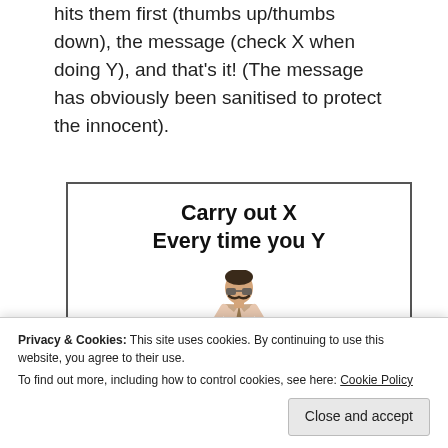hits them first (thumbs up/thumbs down), the message (check X when doing Y), and that's it! (The message has obviously been sanitised to protect the innocent).
[Figure (other): A framed box with bold text reading 'Carry out X Every time you Y' and an illustration of a man (Borat-style character) below the text.]
Privacy & Cookies: This site uses cookies. By continuing to use this website, you agree to their use.
To find out more, including how to control cookies, see here: Cookie Policy
references to The Oatmeal, Dilbert and